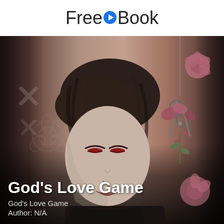FreeEBook
[Figure (illustration): Anime-style illustration of a young person with short brown hair and red eyes, slightly smiling, holding scissors from which a rose hangs. Background has rose motifs and decorative cross symbols. Dark moody aesthetic.]
God's Love Game
God's Love Game
Author: N/A